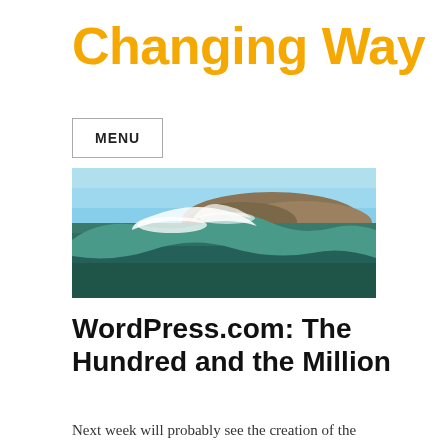Changing Way
MENU
[Figure (photo): Ocean wave with seafoam cresting, rocky coastline visible in background under blue sky]
WordPress.com: The Hundred and the Million
Next week will probably see the creation of the